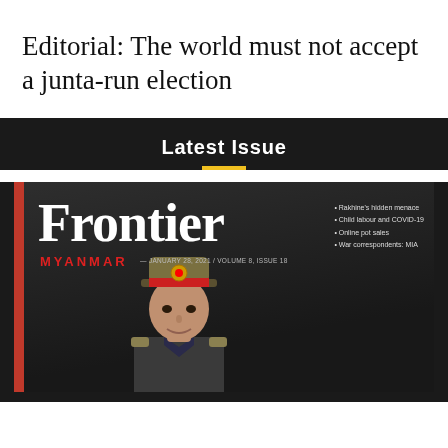Editorial: The world must not accept a junta-run election
Latest Issue
[Figure (photo): Cover of Frontier Myanmar magazine, January 28, 2021, Volume 8, Issue 18. Features a large 'Frontier' masthead in white serif font, 'MYANMAR' in red below, bullet points listing: Rakhine's hidden menace, Child labour and COVID-19, Online pot sales, War correspondents: MIA. A military officer in uniform with decorated hat is shown on the cover.]